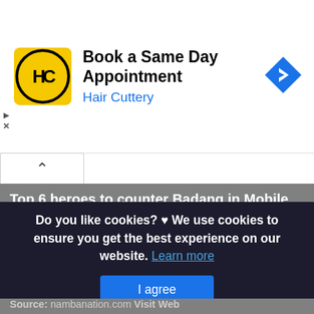[Figure (logo): Hair Cuttery advertisement banner with yellow HC logo, text 'Book a Same Day Appointment' and 'Hair Cuttery', blue navigation arrow icon on right]
Top 6 heroes to counter Badang in Mobile Legends new
This is actually a write-up or even graphic around the Top 6 heroes to counter Badang in Mobile Legends new season Met if you desire much a lot extra info approximately the short pos or even photo satisfy click on or even go to the complying with web link or even web link .
(Read More)
Source: nambanation.com Visit Web
Do you like cookies? ♥ We use cookies to ensure you get the best experience on our website. Learn more
I agree